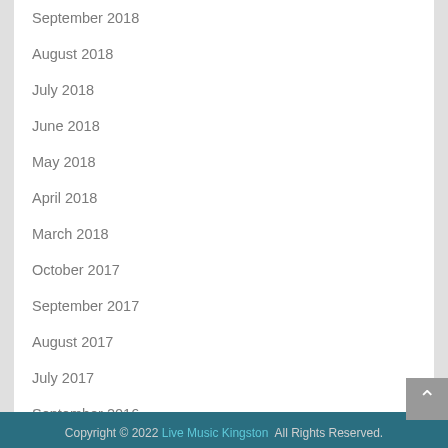September 2018
August 2018
July 2018
June 2018
May 2018
April 2018
March 2018
October 2017
September 2017
August 2017
July 2017
September 2016
September 2015
August 2014
July 2014
June 2014
Copyright © 2022 Live Music Kingston  All Rights Reserved.